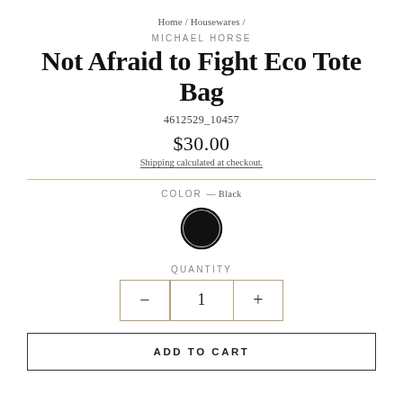Home / Housewares /
MICHAEL HORSE
Not Afraid to Fight Eco Tote Bag
4612529_10457
$30.00
Shipping calculated at checkout.
COLOR — Black
[Figure (other): Black color swatch circle with thick black border]
QUANTITY
- 1 +
ADD TO CART